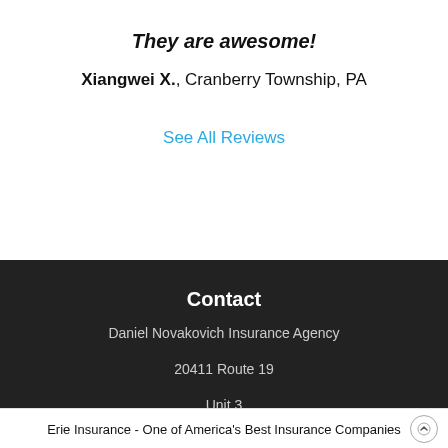They are awesome!
Xiangwei X., Cranberry Township, PA
See All Reviews
Contact
Daniel Novakovich Insurance Agency
20411 Route 19
Unit 3
Erie Insurance - One of America's Best Insurance Companies